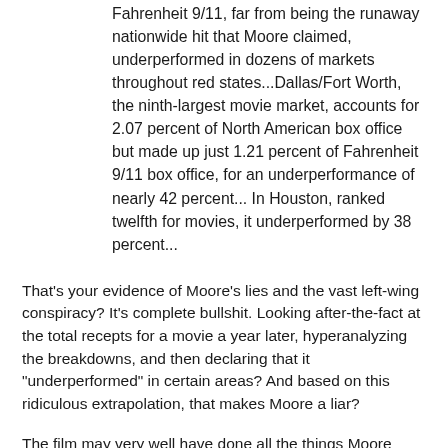Fahrenheit 9/11, far from being the runaway nationwide hit that Moore claimed, underperformed in dozens of markets throughout red states...Dallas/Fort Worth, the ninth-largest movie market, accounts for 2.07 percent of North American box office but made up just 1.21 percent of Fahrenheit 9/11 box office, for an underperformance of nearly 42 percent... In Houston, ranked twelfth for movies, it underperformed by 38 percent...
That's your evidence of Moore's lies and the vast left-wing conspiracy? It's complete bullshit. Looking after-the-fact at the total recepts for a movie a year later, hyperanalyzing the breakdowns, and then declaring that it "underperformed" in certain areas? And based on this ridiculous extrapolation, that makes Moore a liar?
The film may very well have done all the things Moore claims (sell-out, ovations, etc) and York offers no evidence to the contrary. Even if the film did "underperform" over the long run (according to the averages for normal feature films, BTW)